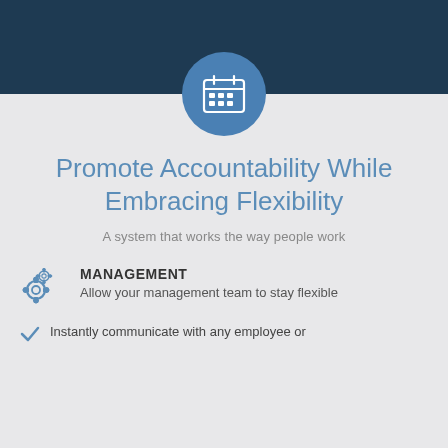[Figure (illustration): Dark navy blue header bar at the top of the page]
[Figure (illustration): Blue circle icon with a calendar/schedule icon in white, centered on the content area]
Promote Accountability While Embracing Flexibility
A system that works the way people work
[Figure (illustration): Two interlocking gear icons in blue outline style]
MANAGEMENT
Allow your management team to stay flexible
Instantly communicate with any employee or